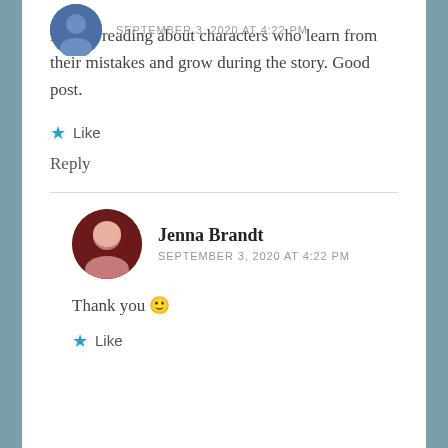SEPTEMBER 3, 2020 AT 4:22 PM
I enjoy reading about characters who learn from their mistakes and grow during the story. Good post.
★ Like
Reply
Jenna Brandt
SEPTEMBER 3, 2020 AT 4:22 PM
Thank you 🙂
★ Like